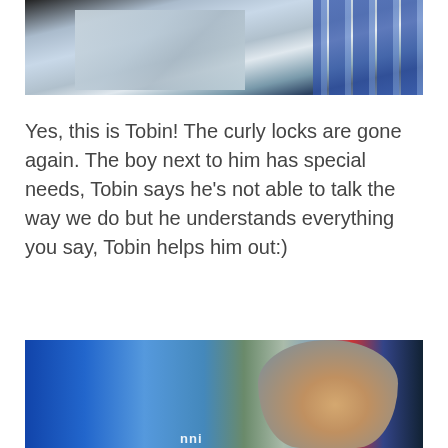[Figure (photo): Cropped photo showing torsos of two people — one wearing a gray/white striped sweater and one wearing a blue plaid shirt]
Yes, this is Tobin! The curly locks are gone again. The boy next to him has special needs, Tobin says he's not able to talk the way we do but he understands everything you say, Tobin helps him out:)
[Figure (photo): Photo of a group of boys, several wearing blue shirts, one boy with short brown hair in the foreground, others visible behind him]